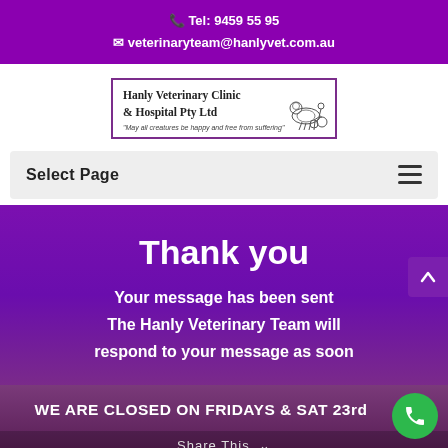Tel: 9459 55 95
veterinaryteam@hanlyvet.com.au
[Figure (logo): Hanly Veterinary Clinic & Hospital Pty Ltd logo with animal illustration and tagline 'May all creatures be happy and free from suffering']
Select Page
Thank you
Your message has been sent
The Hanly Veterinary Team will
respond to your message as soon
WE ARE CLOSED ON FRIDAYS & SAT 23rd
Share This
Dismiss